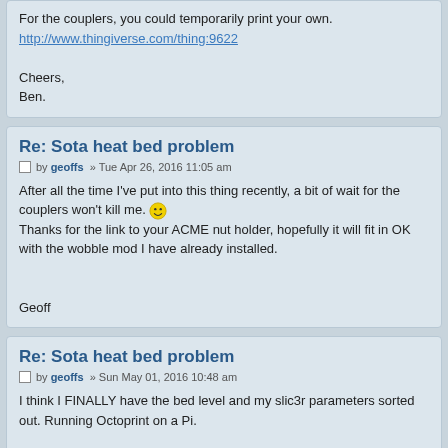For the couplers, you could temporarily print your own.
http://www.thingiverse.com/thing:9622

Cheers,
Ben.
Re: Sota heat bed problem
by geoffs » Tue Apr 26, 2016 11:05 am
After all the time I've put into this thing recently, a bit of wait for the couplers won't kill me. 😄
Thanks for the link to your ACME nut holder, hopefully it will fit in OK with the wobble mod I have already installed.

Geoff
Re: Sota heat bed problem
by geoffs » Sun May 01, 2016 10:48 am
I think I FINALLY have the bed level and my slic3r parameters sorted out. Running Octoprint on a Pi.

Ben, you might recognise this one, my first successful print in a long time. I still need to sort out bed temperature so I can get rid of the painter tape.